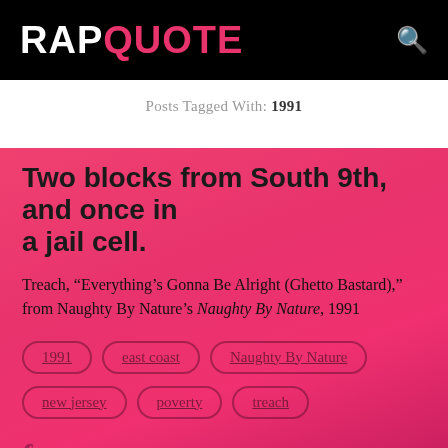RAPQUOTE
Posts Tagged With: 1991
Two blocks from South 9th, and once in a jail cell.
Treach, “Everything’s Gonna Be Alright (Ghetto Bastard),” from Naughty By Nature’s Naughty By Nature, 1991
1991
east coast
Naughty By Nature
new jersey
poverty
treach